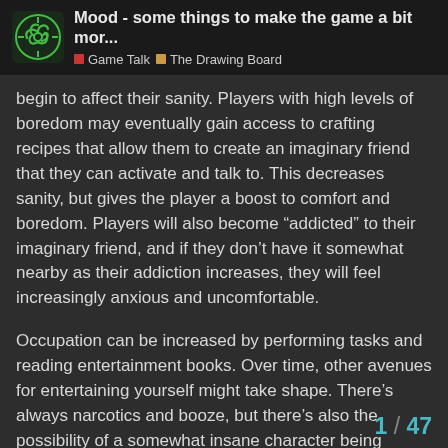Mood - some things to make the game a bit mor... | Game Talk | The Drawing Board
begin to affect their sanity. Players with high levels of boredom may eventually gain access to crafting recipes that allow them to create an imaginary friend that they can activate and talk to. This decreases sanity, but gives the player a boost to comfort and boredom. Players will also become “addicted” to their imaginary friend, and if they don’t have it somewhat nearby as their addiction increases, they will feel increasingly anxious and uncomfortable.
Occupation can be increased by performing tasks and reading entertainment books. Over time, other avenues for entertaining yourself might take shape. There’s always narcotics and booze, but there’s also the possibility of a somewhat insane character being entertained by killing zombies (at the cost of further sanity).
Some characters might have an affinity for certain skills, for instance, a character might genuinely love vehicles while others might be bored to tea
1 / 47